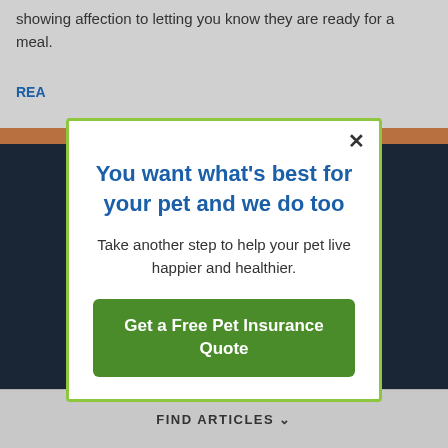showing affection to letting you know they are ready for a meal.
REA...
You want what's best for your pet and we do too
Take another step to help your pet live happier and healthier.
Get a Free Pet Insurance Quote
FIND ARTICLES ∨